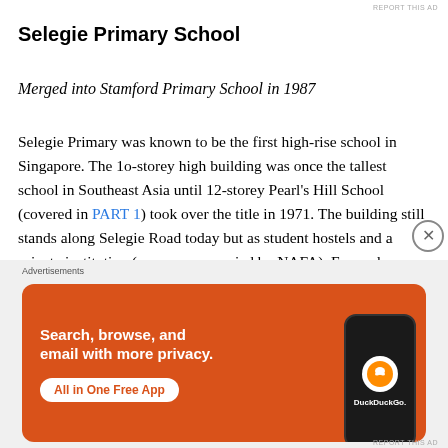Selegie Primary School
Merged into Stamford Primary School in 1987
Selegie Primary was known to be the first high-rise school in Singapore. The 1o-storey high building was once the tallest school in Southeast Asia until 12-storey Pearl's Hill School (covered in PART 1) took over the title in 1971. The building still stands along Selegie Road today but as student hostels and a private institution (was once occupied by NAFA). Formerly known as Selegie
[Figure (screenshot): DuckDuckGo advertisement banner with orange background. Text reads 'Search, browse, and email with more privacy. All in One Free App' with DuckDuckGo logo and phone mockup on right side.]